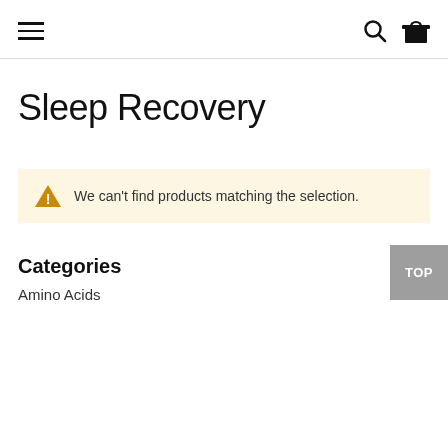Navigation header with hamburger menu, search icon, and bag icon
Sleep Recovery
We can't find products matching the selection.
Categories
Amino Acids